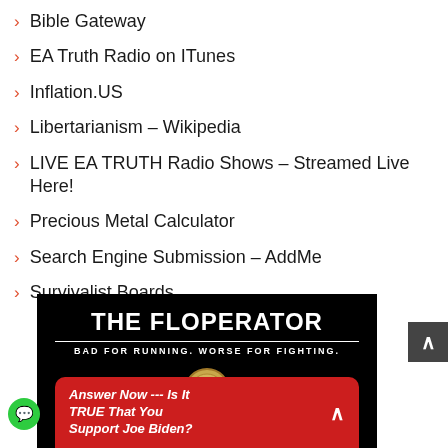Bible Gateway
EA Truth Radio on ITunes
Inflation.US
Libertarianism – Wikipedia
LIVE EA TRUTH Radio Shows – Streamed Live Here!
Precious Metal Calculator
Search Engine Submission – AddMe
Survivalist Boards
[Figure (advertisement): The Floperator ad banner: black background with white bold text 'THE FLOPERATOR', subtitle 'BAD FOR RUNNING. WORSE FOR FIGHTING.', a coin graphic, and a red rounded box at the bottom reading 'Answer Now --- Is It TRUE That You Support Joe Biden?' with an up-caret arrow.]